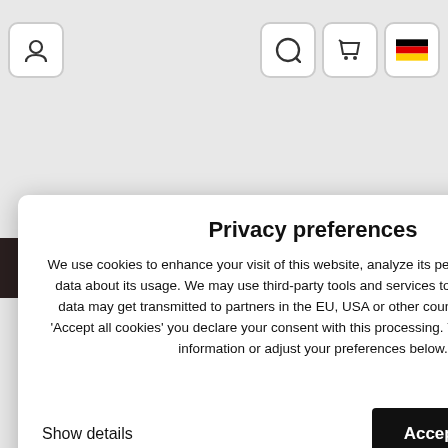[Figure (screenshot): Website header with user icon button on left and search, cart, German flag icon buttons on right, on a light grey background]
[Figure (screenshot): Dark navigation bar with Products and Menu buttons on right side]
[Figure (screenshot): Partial right-side content showing 'issan' text and '- 2007' in a light blue box]
Privacy preferences
We use cookies to enhance your visit of this website, analyze its performance and collect data about its usage. We may use third-party tools and services to do so and collected data may get transmitted to partners in the EU, USA or other countries. By clicking on 'Accept all cookies' you declare your consent with this processing. You may find detailed information or adjust your preferences below.
Privacy declaration
Show details
Accept all cookies